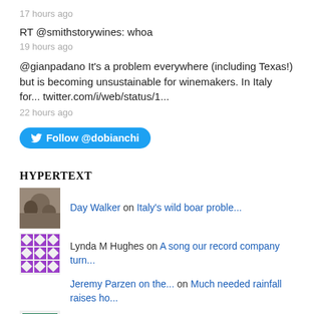17 hours ago
RT @smithstorywines: whoa
19 hours ago
@gianpadano It's a problem everywhere (including Texas!) but is becoming unsustainable for winemakers. In Italy for... twitter.com/i/web/status/1...
22 hours ago
Follow @dobianchi
HYPERTEXT
Day Walker on Italy's wild boar proble...
Lynda M Hughes on A song our record company turn...
Jeremy Parzen on the... on Much needed rainfall raises ho...